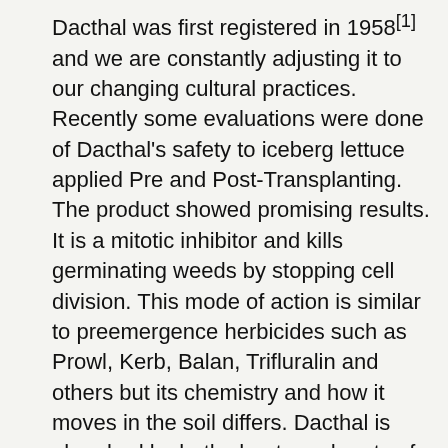Dacthal was first registered in 1958[1] and we are constantly adjusting it to our changing cultural practices. Recently some evaluations were done of Dacthal's safety to iceberg lettuce applied Pre and Post-Transplanting. The product showed promising results. It is a mitotic inhibitor and kills germinating weeds by stopping cell division. This mode of action is similar to preemergence herbicides such as Prowl, Kerb, Balan, Trifluralin and others but its chemistry and how it moves in the soil differs. Dacthal is absorbed by both shoots and roots of germinating seedlings although most of the activity is from shoot absorption. When absorbed by the shoots, it will move upward into the plant. It is not absorbed by foliage and can be safely applied over the crop. Dacthal adheres strongly to soil particles. The best time to apply Dacthal is when the soil is moist but not saturated[2]. We are also including in this update the statement from registrant AMVAC Corporation for more